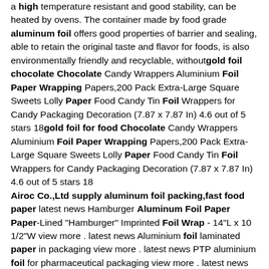a high temperature resistant and good stability, can be heated by ovens. The container made by food grade aluminum foil offers good properties of barrier and sealing, able to retain the original taste and flavor for foods, is also environmentally friendly and recyclable, withoutgold foil chocolate Chocolate Candy Wrappers Aluminium Foil Paper Wrapping Papers,200 Pack Extra-Large Square Sweets Lolly Paper Food Candy Tin Foil Wrappers for Candy Packaging Decoration (7.87 x 7.87 In) 4.6 out of 5 stars 18gold foil for food Chocolate Candy Wrappers Aluminium Foil Paper Wrapping Papers,200 Pack Extra-Large Square Sweets Lolly Paper Food Candy Tin Foil Wrappers for Candy Packaging Decoration (7.87 x 7.87 In) 4.6 out of 5 stars 18 Airoc Co.,Ltd supply aluminum foil packing,fast food paper latest news Hamburger Aluminum Foil Paper Paper-Lined "Hamburger" Imprinted Foil Wrap - 14"L x 10 1/2"W view more . latest news Aluminium foil laminated paper in packaging view more . latest news PTP aluminium foil for pharmaceutical packaging view more . latest news High quality confectioners foil and chocolate foil view moreAluminum Foil Food Wrapping Paper,Chocolate Wrapping Foil Product categories of Aluminum Foil Food Wrapping Paper, we are specialized manufacturers from China, Aluminum Foil Food Wrapping Paper, Chocolate Wrapping Foil Paper suppliers/factory, wholesale high-quality